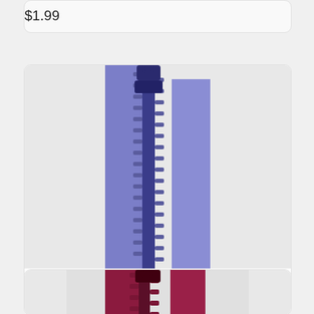$1.99
[Figure (photo): Close-up photo of a periwinkle blue YKK zipper with plastic teeth and a dark pull tab, shown vertically against a light grey background.]
22in Periwinkle YKK Zipper - 742
[Figure (photo): Partial photo of a dark red/burgundy YKK zipper with plastic teeth, shown vertically, cropped at the bottom of the page.]